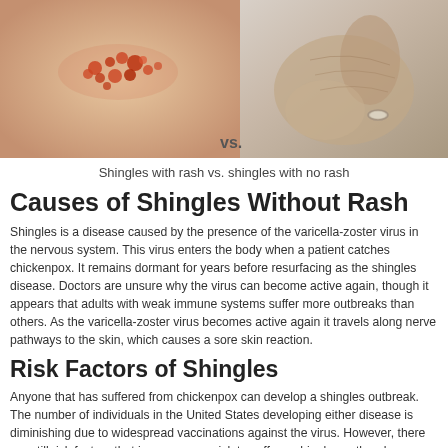[Figure (photo): Two side-by-side photos: left shows shingles rash with red spots on skin, right shows shingles with no rash (elderly hand/wrist). 'vs.' label between them.]
Shingles with rash vs. shingles with no rash
Causes of Shingles Without Rash
Shingles is a disease caused by the presence of the varicella-zoster virus in the nervous system. This virus enters the body when a patient catches chickenpox. It remains dormant for years before resurfacing as the shingles disease. Doctors are unsure why the virus can become active again, though it appears that adults with weak immune systems suffer more outbreaks than others. As the varicella-zoster virus becomes active again it travels along nerve pathways to the skin, which causes a sore skin reaction.
Risk Factors of Shingles
Anyone that has suffered from chickenpox can develop a shingles outbreak. The number of individuals in the United States developing either disease is diminishing due to widespread vaccinations against the virus. However, there are still risk factors that increase your risk to suffer a shingles outbreak.